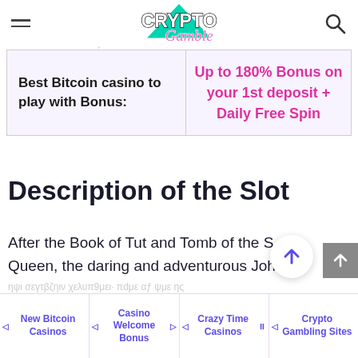CryptoGamble — navigation header with hamburger menu and search icon
Egyptian, Az... Egyptian animals, c... etc...
| Best Bitcoin casino to play with Bonus: | Up to 180% Bonus on your 1st deposit + Daily Free Spin |
| --- | --- |
Description of the Slot
After the Book of Tut and Tomb of the S Queen, the daring and adventurous John
New Bitcoin Casinos | Casino Welcome Bonus | Crazy Time Casinos | Crypto Gambling Sites